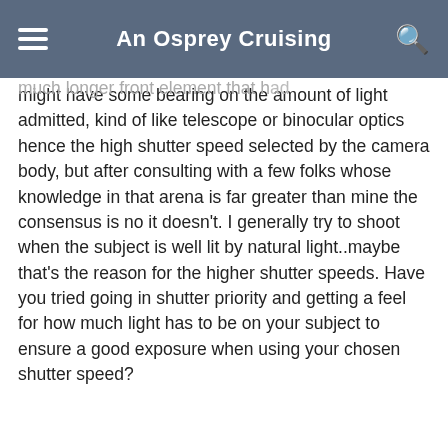An Osprey Cruising
might have some bearing on the amount of light admitted, kind of like telescope or binocular optics hence the high shutter speed selected by the camera body, but after consulting with a few folks whose knowledge in that arena is far greater than mine the consensus is no it doesn't. I generally try to shoot when the subject is well lit by natural light..maybe that's the reason for the higher shutter speeds. Have you tried going in shutter priority and getting a feel for how much light has to be on your subject to ensure a good exposure when using your chosen shutter speed?
Reply
Jun 8, 2003 11:08 PM by eric s #12
Thanks for the info. I haven't use aperture priority yet. I do understand what it does, but I'm still getting comfortable with the 400mm and things like good composition and anticipation of what the bird will do. Now if it would only stop